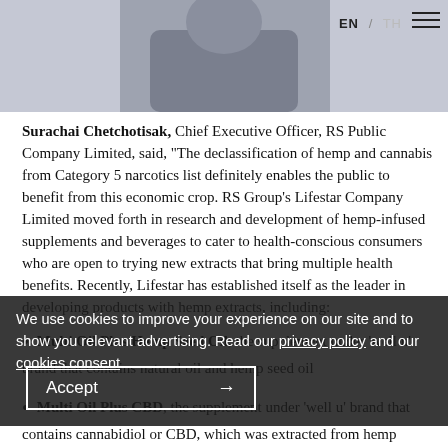[Figure (photo): Photo of a man in a grey blazer with arms crossed, shown from shoulders up against a light blue-grey background. Navigation bar visible with EN / TH language toggle and hamburger menu icon.]
Surachai Chetchotisak, Chief Executive Officer, RS Public Company Limited, said, “The declassification of hemp and cannabis from Category 5 narcotics list definitely enables the public to benefit from this economic crop. RS Group’s Lifestar Company Limited moved forth in research and development of hemp-infused supplements and beverages to cater to health-conscious consumers who are open to trying new extracts that bring multiple health benefits. Recently, Lifestar has established itself as the leader in developing products with hemp extracts, including:
We use cookies to improve your experience on our site and to show you relevant advertising. Read our privacy policy and our cookies consent
Multi Oil Plus Hemp Seed Oil, the supplement under ‘well u’ brand that contains natural oil and hemp seed oil
Multi Oil Plus CBD, the supplement under ‘well u’ brand that contains cannabidiol or CBD, which was extracted from hemp flower.